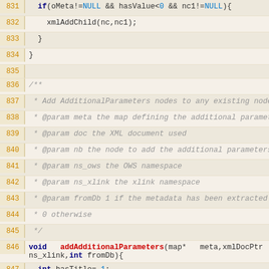Source code viewer showing lines 831-857 of a C function with addAdditionalParameters implementation